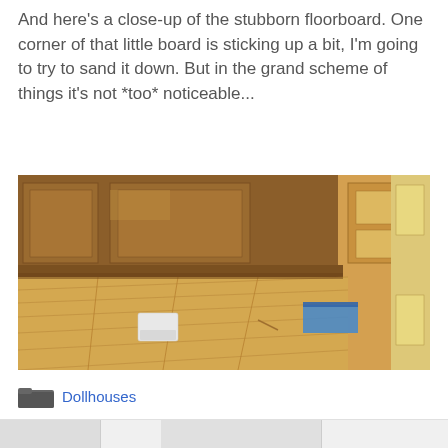And here's a close-up of the stubborn floorboard. One corner of that little board is sticking up a bit, I'm going to try to sand it down. But in the grand scheme of things it's not *too* noticeable...
[Figure (photo): Photo of a dollhouse room interior showing wooden floor planks, wood-paneled cabinet base, and a door frame on the right with blue painter's tape. A small white rectangular block sits on the floor in the center-left area.]
Dollhouses